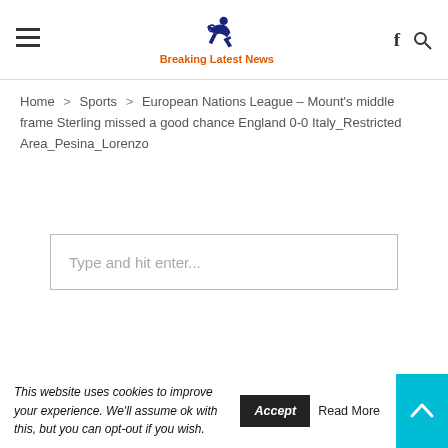Breaking Latest News — header with hamburger menu, logo, Facebook and search icons
Home > Sports > European Nations League – Mount's middle frame Sterling missed a good chance England 0-0 Italy_Restricted Area_Pesina_Lorenzo
Type and hit enter...
This website uses cookies to improve your experience. We'll assume ok with this, but you can opt-out if you wish. Accept Read More